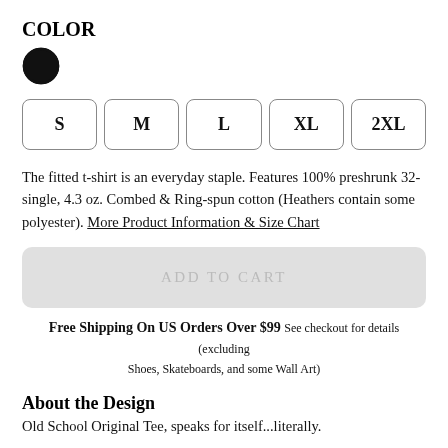COLOR
[Figure (illustration): Black filled circle color swatch with a circular border, indicating selected black color option.]
S
M
L
XL
2XL
The fitted t-shirt is an everyday staple. Features 100% preshrunk 32-single, 4.3 oz. Combed & Ring-spun cotton (Heathers contain some polyester). More Product Information & Size Chart
ADD TO CART
Free Shipping On US Orders Over $99 See checkout for details (excluding Shoes, Skateboards, and some Wall Art)
About the Design
Old School Original Tee, speaks for itself...literally.
Product Information & Size Chart   Return Policy